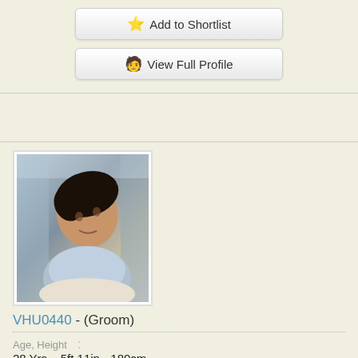⭐ Add to Shortlist
👤 View Full Profile
[Figure (photo): Profile photo of a young man tilting his head, wearing a light blue shirt, taken indoors]
VHU0440 - (Groom)
Age, Height
28 Yrs,   5ft 11in - 180cm
Religion, Caste
Muslim : Hanafi
Mother Tongue